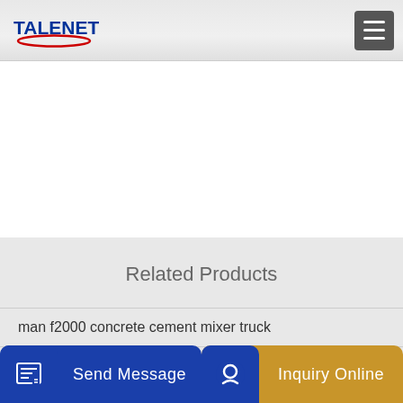TALENET
Related Products
man f2000 concrete cement mixer truck
jzc400 self loading drum concrete mixer concrete mixing
if batch
Send Message
Inquiry Online